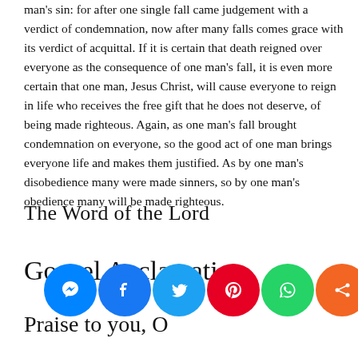man's sin: for after one single fall came judgement with a verdict of condemnation, now after many falls comes grace with its verdict of acquittal. If it is certain that death reigned over everyone as the consequence of one man's fall, it is even more certain that one man, Jesus Christ, will cause everyone to reign in life who receives the free gift that he does not deserve, of being made righteous. Again, as one man's fall brought condemnation on everyone, so the good act of one man brings everyone life and makes them justified. As by one man's disobedience many were made sinners, so by one man's obedience many will be made righteous.
The Word of the Lord
Gospel Acclamation
Mt 4:4
Praise to you, O...